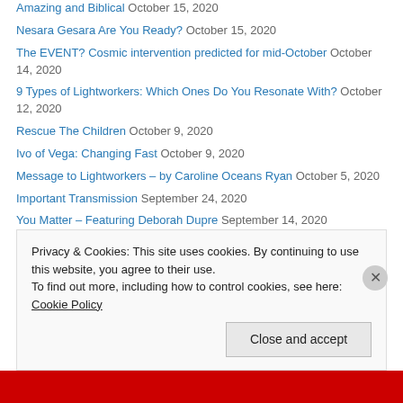Amazing and Biblical October 15, 2020
Nesara Gesara Are You Ready? October 15, 2020
The EVENT? Cosmic intervention predicted for mid-October October 14, 2020
9 Types of Lightworkers: Which Ones Do You Resonate With? October 12, 2020
Rescue The Children October 9, 2020
Ivo of Vega: Changing Fast October 9, 2020
Message to Lightworkers – by Caroline Oceans Ryan October 5, 2020
Important Transmission September 24, 2020
You Matter – Featuring Deborah Dupre September 14, 2020
FREE ENERGY September 13, 2020
Da Vinci's Last Painting Holds Secret Alien Coding No One Noticed –
Privacy & Cookies: This site uses cookies. By continuing to use this website, you agree to their use. To find out more, including how to control cookies, see here: Cookie Policy
Close and accept